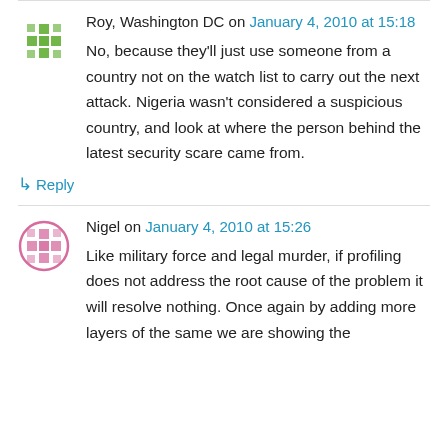Roy, Washington DC on January 4, 2010 at 15:18
No, because they'll just use someone from a country not on the watch list to carry out the next attack. Nigeria wasn't considered a suspicious country, and look at where the person behind the latest security scare came from.
↳ Reply
Nigel on January 4, 2010 at 15:26
Like military force and legal murder, if profiling does not address the root cause of the problem it will resolve nothing. Once again by adding more layers of the same we are showing the